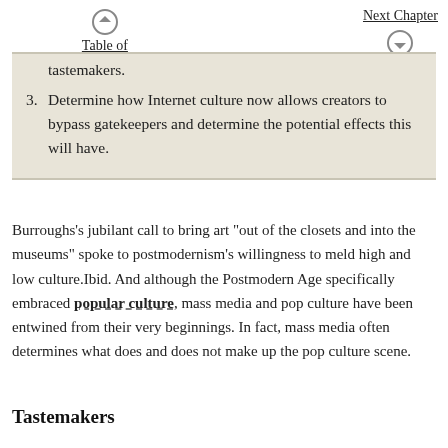Table of Contents | Next Chapter
tastemakers.
3. Determine how Internet culture now allows creators to bypass gatekeepers and determine the potential effects this will have.
Burroughs’s jubilant call to bring art “out of the closets and into the museums” spoke to postmodernism’s willingness to meld high and low culture.Ibid. And although the Postmodern Age specifically embraced popular culture, mass media and pop culture have been entwined from their very beginnings. In fact, mass media often determines what does and does not make up the pop culture scene.
Tastemakers